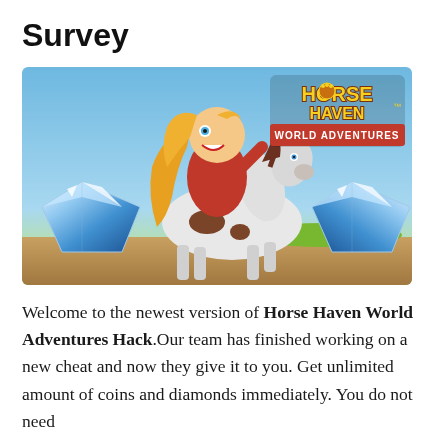Survey
[Figure (illustration): Horse Haven World Adventures game promotional image showing a cartoon girl with long blonde hair riding a white horse with brown spots, with two large blue diamond gems on either side and the game logo 'Horse Haven World Adventures' in the upper right corner against a sky background.]
Welcome to the newest version of Horse Haven World Adventures Hack.Our team has finished working on a new cheat and now they give it to you. Get unlimited amount of coins and diamonds immediately. You do not need